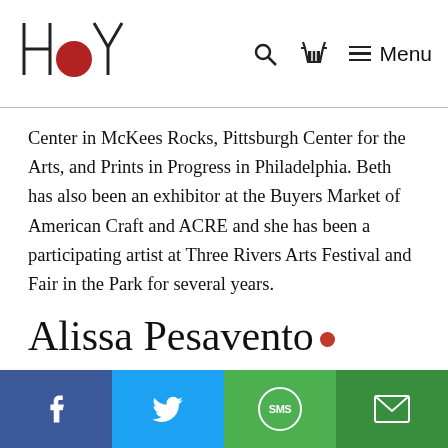HOYT logo with navigation icons: search, basket, menu
Center in McKees Rocks, Pittsburgh Center for the Arts, and Prints in Progress in Philadelphia. Beth has also been an exhibitor at the Buyers Market of American Craft and ACRE and she has been a participating artist at Three Rivers Arts Festival and Fair in the Park for several years.
Alissa Pesavento •
Harp
Facebook | Twitter | SMS | Email social share bar